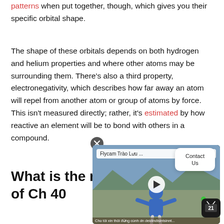patterns when put together, though, which gives you their specific orbital shape.
The shape of these orbitals depends on both hydrogen and helium properties and where other atoms may be surrounding them. There's also a third property, electronegativity, which describes how far away an atom will repel from another atom or group of atoms by force. This isn't measured directly; rather, it's estimated by how reactive an element will be to bond with others in a compound.
What is the m...
[Figure (screenshot): Video popup overlay showing 'Flycam Trào Lưu ...' title with a person in a blue jacket outdoors, play button in center, Contact Us button, TV channel 21 icon with green dot, and close button.]